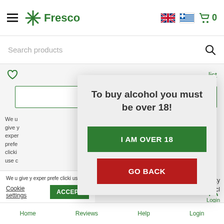[Figure (screenshot): Fresco grocery website screenshot showing header with hamburger menu, Fresco logo, UK and Greek flag icons, shopping cart with 0 items, search bar, wishlist icon, cookie consent banner, and bottom navigation bar]
To buy alcohol you must be over 18!
I AM OVER 18
GO BACK
We u give y exper prefe clicki use c
Cookie settings
ACCEPT
hisky d Scotch 70cl
Home     Reviews     Help     Login